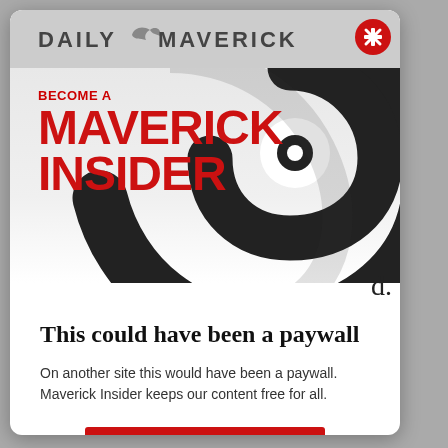[Figure (logo): Daily Maverick logo with bird/maverick wordmark in gray header bar]
[Figure (illustration): Large black and white spiral/swirl graphic overlaid on top section of card]
BECOME A MAVERICK INSIDER
d.
This could have been a paywall
On another site this would have been a paywall. Maverick Insider keeps our content free for all.
Become an Insider